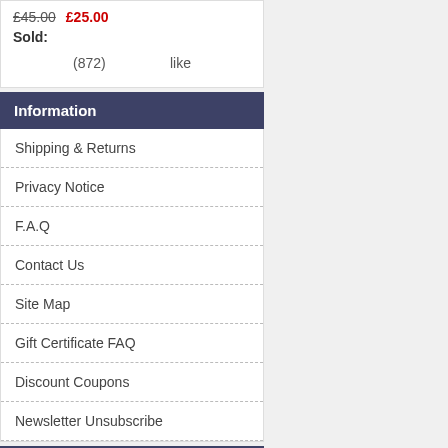£45.00  £25.00
Sold:
(872)   like
Information
Shipping & Returns
Privacy Notice
F.A.Q
Contact Us
Site Map
Gift Certificate FAQ
Discount Coupons
Newsletter Unsubscribe
Who's Online
There currently are 3 guests online.